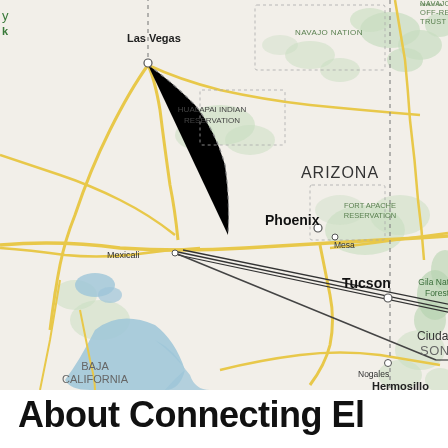[Figure (map): Google Maps style map showing Arizona and surrounding region including Las Vegas, Phoenix, Mesa, Tucson, Nogales, Mexicali, Baja California, Sonora, Hermosillo, Navajo Nation, Hualapai Indian Reservation, Fort Apache Reservation, Gila National Forest, and Ciudad. A line is drawn from Mexicali area through Tucson to Nogales/Ciudad area.]
About Connecting El...